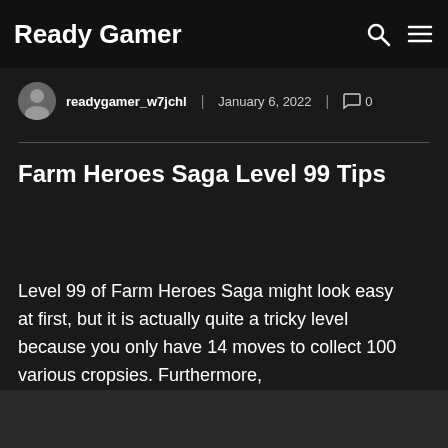Ready Gamer
readygamer_w7jchl | January 6, 2022 | 0
Farm Heroes Saga Level 99 Tips
Level 99 of Farm Heroes Saga might look easy at first, but it is actually quite a tricky level because you only have 14 moves to collect 100 various cropsies. Furthermore,